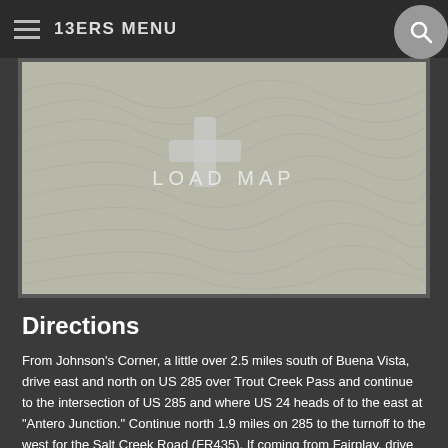13ERS MENU
[Figure (map): Topographic map placeholder with 'LOAD MAP' text overlay and contour lines visible]
Directions
From Johnson's Corner, a little over 2.5 miles south of Buena Vista, drive east and north on US 285 over Trout Creek Pass and continue to the intersection of US 285 and where US 24 heads of to the east at "Antero Junction." Continue north 1.9 miles on 285 to the turnoff to the west for the Salt Creek Road (FR435). If coming from Fairplay, drive appx. 19 miles south on US 285 to FR435. Follow FR435 4.5 miles west to a junction of FR435 and FR436. Go left onto FR436. The road climbs up a hill by a couple of switchbacks and at 2.1 miles from the previous junction comes to another intersection just before it crosses the South Fork of Salt Creek. Go ahead and continue over the creek on FR436. At the